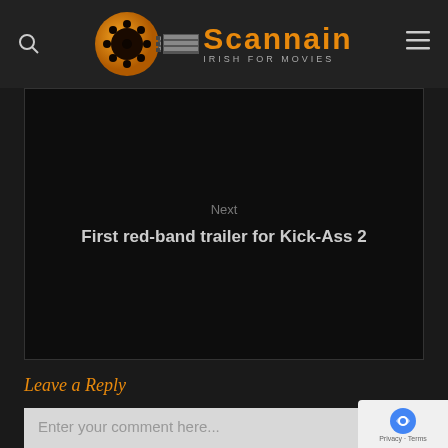Scannain — Irish for Movies
Next
First red-band trailer for Kick-Ass 2
Leave a Reply
Enter your comment here...